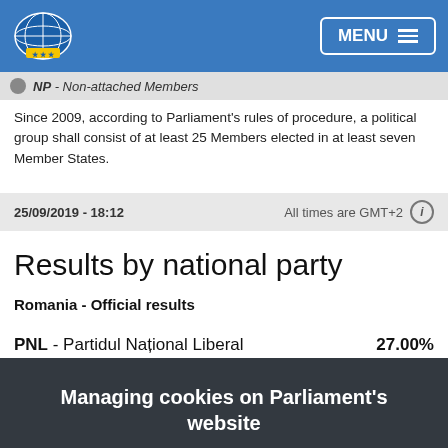European Parliament - MENU
NP - Non-attached Members
Since 2009, according to Parliament's rules of procedure, a political group shall consist of at least 25 Members elected in at least seven Member States.
25/09/2019 - 18:12    All times are GMT+2
Results by national party
Romania - Official results
PNL - Partidul Național Liberal    27.00%
Managing cookies on Parliament's website
This website uses cookies to allow us to gather anonymous data to understand how our site is used and how we can offer you a better experience